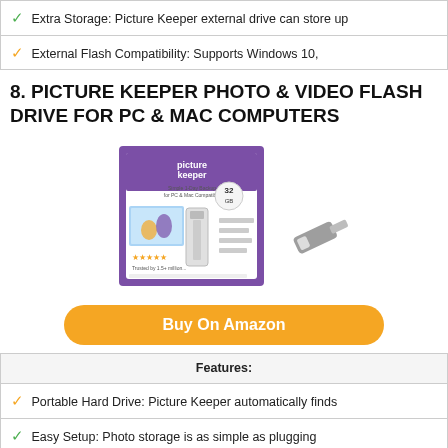✓ Extra Storage: Picture Keeper external drive can store up
✓ External Flash Compatibility: Supports Windows 10,
8. PICTURE KEEPER PHOTO & VIDEO FLASH DRIVE FOR PC & MAC COMPUTERS
[Figure (photo): Product photo of Picture Keeper 32GB flash drive with purple retail box packaging]
Buy On Amazon
Features:
✓ Portable Hard Drive: Picture Keeper automatically finds
✓ Easy Setup: Photo storage is as simple as plugging